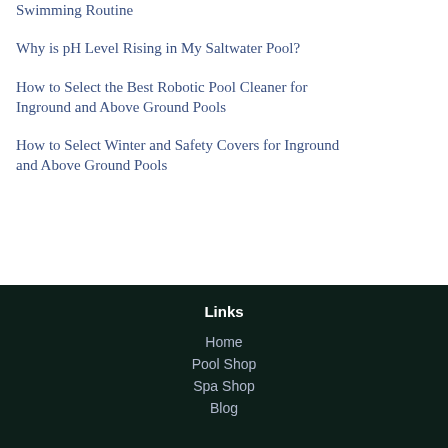Swimming Routine
Why is pH Level Rising in My Saltwater Pool?
How to Select the Best Robotic Pool Cleaner for Inground and Above Ground Pools
How to Select Winter and Safety Covers for Inground and Above Ground Pools
Links
Home
Pool Shop
Spa Shop
Blog